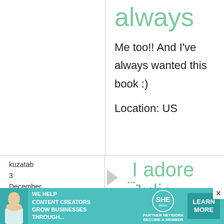always
Me too!! And I've always wanted this book :)
Location: US
kuzatab
3 December, 2008 - 18:51
I adore Julia Child!
[Figure (photo): Advertisement banner: WE HELP CONTENT CREATORS GROW BUSINESSES THROUGH... SHE PARTNER NETWORK BECOME A MEMBER. LEARN MORE button. Shows a woman with a laptop.]